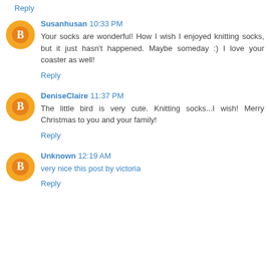Reply
Susanhusan 10:33 PM
Your socks are wonderful! How I wish I enjoyed knitting socks, but it just hasn't happened. Maybe someday :) I love your coaster as well!
Reply
DeniseClaire 11:37 PM
The little bird is very cute. Knitting socks...I wish! Merry Christmas to you and your family!
Reply
Unknown 12:19 AM
very nice this post by victoria
Reply